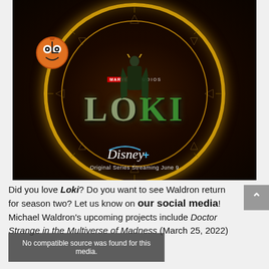[Figure (photo): Marvel Studios Loki promotional poster showing Loki in green costume at center with a large circular golden clock-like ring, a cartoon clock character on the left, 'MARVEL STUDIOS' badge, 'LOKI' title in metallic letters, Disney+ logo, text 'Original Series Streaming June 9']
Did you love Loki? Do you want to see Waldron return for season two? Let us know on our social media! Michael Waldron's upcoming projects include Doctor Strange in the Multiverse of Madness (March 25, 2022)